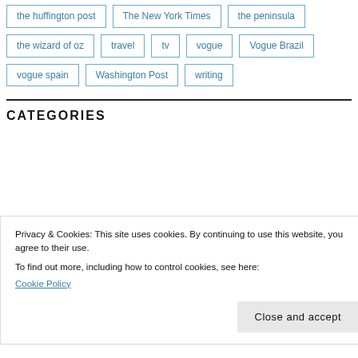the huffington post
The New York Times
the peninsula
the wizard of oz
travel
tv
vogue
Vogue Brazil
vogue spain
Washington Post
writing
CATEGORIES
Privacy & Cookies: This site uses cookies. By continuing to use this website, you agree to their use.
To find out more, including how to control cookies, see here:
Cookie Policy
Close and accept